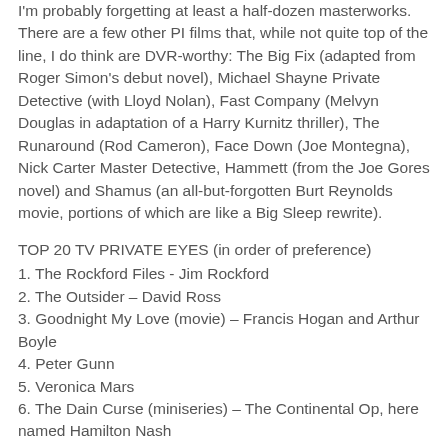I'm probably forgetting at least a half-dozen masterworks. There are a few other PI films that, while not quite top of the line, I do think are DVR-worthy: The Big Fix (adapted from Roger Simon's debut novel), Michael Shayne Private Detective (with Lloyd Nolan), Fast Company (Melvyn Douglas in adaptation of a Harry Kurnitz thriller), The Runaround (Rod Cameron), Face Down (Joe Montegna), Nick Carter Master Detective, Hammett (from the Joe Gores novel) and Shamus (an all-but-forgotten Burt Reynolds movie, portions of which are like a Big Sleep rewrite).
TOP 20 TV PRIVATE EYES (in order of preference)
1. The Rockford Files - Jim Rockford
2. The Outsider – David Ross
3. Goodnight My Love (movie) – Francis Hogan and Arthur Boyle
4. Peter Gunn
5. Veronica Mars
6. The Dain Curse (miniseries) – The Continental Op, here named Hamilton Nash
7. Harry O – Harry Orwell
8. One Shoe Makes It Murder (movie) – Harold Shillman
9. The Undercover Man (movie) – Jane Andrews